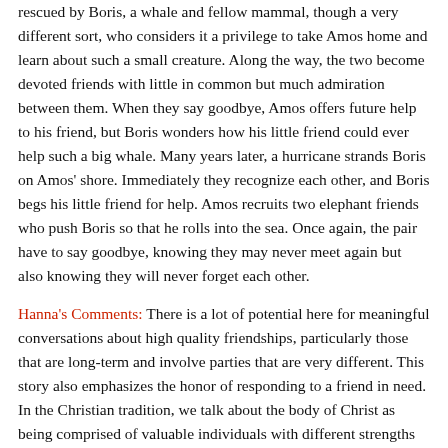rescued by Boris, a whale and fellow mammal, though a very different sort, who considers it a privilege to take Amos home and learn about such a small creature. Along the way, the two become devoted friends with little in common but much admiration between them. When they say goodbye, Amos offers future help to his friend, but Boris wonders how his little friend could ever help such a big whale. Many years later, a hurricane strands Boris on Amos' shore. Immediately they recognize each other, and Boris begs his little friend for help. Amos recruits two elephant friends who push Boris so that he rolls into the sea. Once again, the pair have to say goodbye, knowing they may never meet again but also knowing they will never forget each other.
Hanna's Comments: There is a lot of potential here for meaningful conversations about high quality friendships, particularly those that are long-term and involve parties that are very different. This story also emphasizes the honor of responding to a friend in need. In the Christian tradition, we talk about the body of Christ as being comprised of valuable individuals with different strengths and needs. This book would help explore that concept or it could be used when teaching about Paul's relationships with his traveling companions.